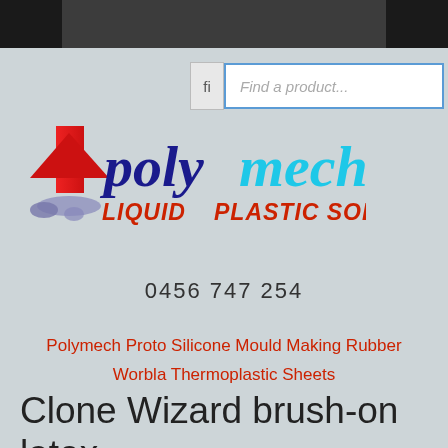[Figure (logo): Polymech Liquid Plastic Solutions logo with red arrow icon and blue/cyan text]
0456 747 254
Polymech Proto Silicone Mould Making Rubber
Worbla Thermoplastic Sheets
Clone Wizard brush-on latex rubber